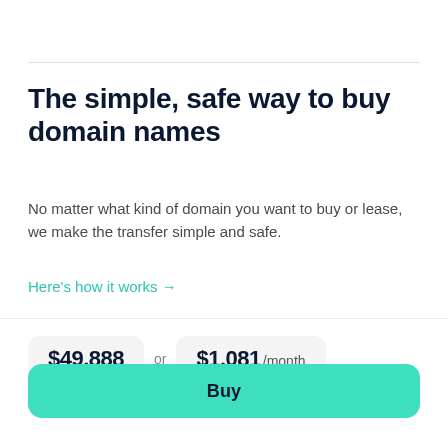The simple, safe way to buy domain names
No matter what kind of domain you want to buy or lease, we make the transfer simple and safe.
Here's how it works →
$49,888 or $1,081 /month
Buy